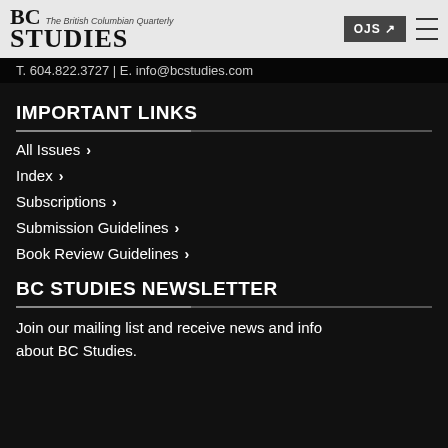BC STUDIES — The British Columbian Quarterly
T. 604.822.3727 | E. info@bcstudies.com
IMPORTANT LINKS
All Issues
Index
Subscriptions
Submission Guidelines
Book Review Guidelines
BC STUDIES NEWSLETTER
Join our mailing list and receive news and info about BC Studies.